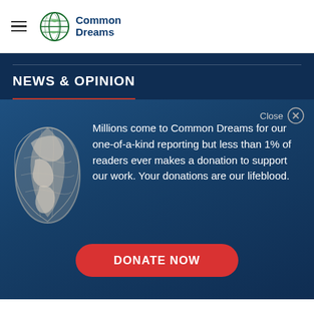Common Dreams
NEWS & OPINION
Millions come to Common Dreams for our one-of-a-kind reporting but less than 1% of readers ever makes a donation to support our work. Your donations are our lifeblood.
DONATE NOW